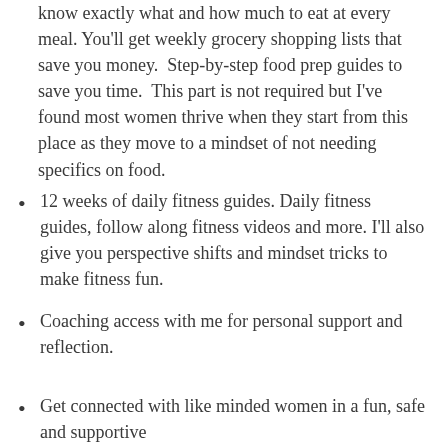know exactly what and how much to eat at every meal. You'll get weekly grocery shopping lists that save you money. Step-by-step food prep guides to save you time. This part is not required but I've found most women thrive when they start from this place as they move to a mindset of not needing specifics on food.
12 weeks of daily fitness guides. Daily fitness guides, follow along fitness videos and more. I'll also give you perspective shifts and mindset tricks to make fitness fun.
Coaching access with me for personal support and reflection.
Get connected with like minded women in a fun, safe and supportive